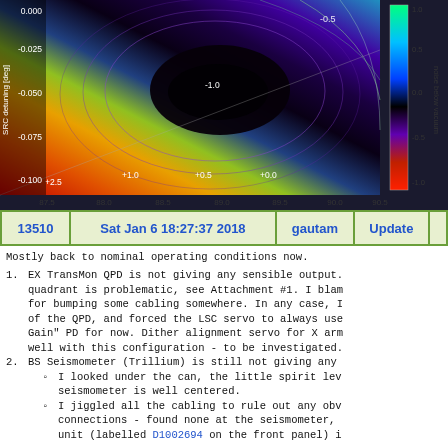[Figure (continuous-plot): 2D contour/heatmap plot showing noise below vacuum (colorbar from -1.0 to 1.0+) as a function of homodyne angle [deg] (x-axis, 87.5 to 90.5) and SRC detuning [deg] (y-axis, -0.100 to 0.000). Contour lines labeled with values like -0.5, -1.0, +0.0, +0.5, +1.0, +2.5. Color scale: red/orange (high noise) bottom-left, dark/black (minimum) center-right, blue/purple and green (below vacuum) right side.]
| 13510 | Sat Jan 6 18:27:37 2018 | gautam | Update |  |
| --- | --- | --- | --- | --- |
Mostly back to nominal operating conditions now.
1. EX TransMon QPD is not giving any sensible output. quadrant is problematic, see Attachment #1. I blam for bumping some cabling somewhere. In any case, I of the QPD, and forced the LSC servo to always use Gain" PD for now. Dither alignment servo for X arm well with this configuration - to be investigated.
2. BS Seismometer (Trillium) is still not giving any
o I looked under the can, the little spirit lev seismometer is well centered.
o I jiggled all the cabling to rule out any obv connections - found none at the seismometer, unit (labelled D1002694 on the front panel) i